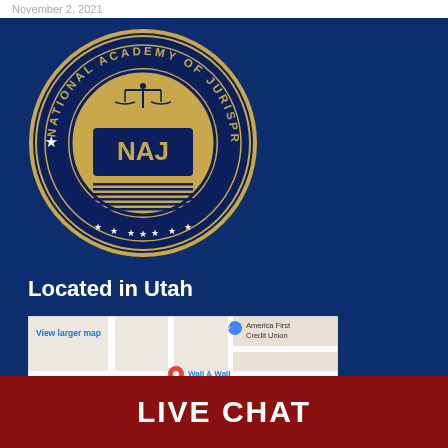November 2, 2021
[Figure (logo): National Academy of Jurisprudence (NAJ) circular seal logo with gold border, scales of justice at top, NAJ text in center on gold shield, dark navy background, stars at bottom]
Located in Utah
[Figure (map): Google Maps screenshot showing location of Wall & Wall Attorneys At Law PC near Fort Union Blvd in Towncrest Terrace area, with red location pin, America First Credit Union visible, View larger map link]
LIVE CHAT